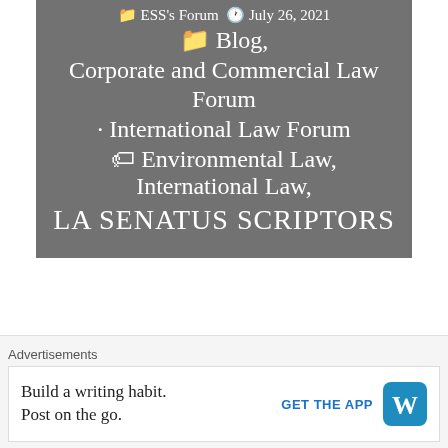LSS's Forum · July 26, 2021
📁 Blog, Corporate and Commercial Law Forum · International Law Forum
🏷 Environmental Law, International Law,
LA SENATUS SCRIPTORS
Previous Post
Advertisements
Build a writing habit. Post on the go. GET THE APP